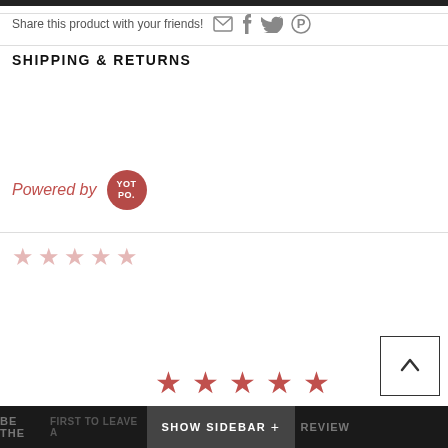[Figure (screenshot): Dark top bar element cropped at top of page]
Share this product with your friends! [email icon] [facebook icon] [twitter icon] [pinterest icon]
SHIPPING & RETURNS
[Figure (logo): Powered by Yotpo logo — red circle with YOT PO. text]
[Figure (other): Five empty star rating icons in muted red/pink]
[Figure (other): Five filled star rating icons in muted red]
SHOW SIDEBAR +
BE THE ... REVIEW